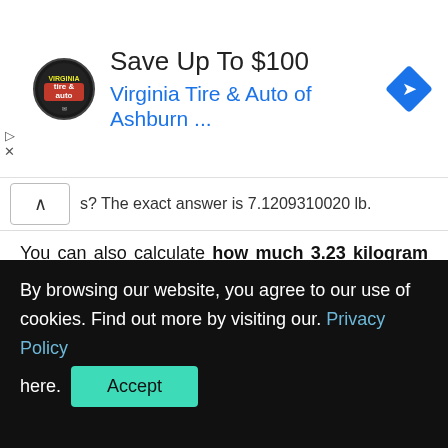[Figure (logo): Virginia Tire & Auto advertisement banner with circular logo, 'Save Up To $100' headline, 'Virginia Tire & Auto of Ashburn ...' subtitle in blue, and a blue navigation diamond icon]
s? The exact answer is 7.1209310020 lb.
You can also calculate how much 3.23 kilogram is equal to pounds with another, shortened version of the equation. Check it down below.
The number of kilograms * 2.2 = the result in pounds
So this time, 3.23 kg equal to how much lbs ? The result
By browsing our website, you agree to our use of cookies. Find out more by visiting our. Privacy Policy here.